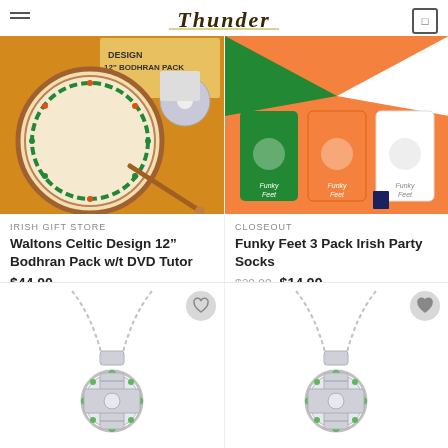Thunder
[Figure (photo): Waltons Celtic Design 12 inch Bodhran Pack with DVD Tutor product photo]
IRISH GIFT STORE
Waltons Celtic Design 12" Bodhran Pack w/t DVD Tutor
$44.00
[Figure (photo): Funky Feet 3 Pack Irish Party Socks product photo showing green, orange and white socks in box]
CLOSEOUT
Funky Feet 3 Pack Irish Party Socks
$29.99  $14.99
[Figure (photo): Silver Celtic cross necklace with green stones on chain]
[Figure (photo): Silver Celtic cross necklace with green stones on chain, second variant]